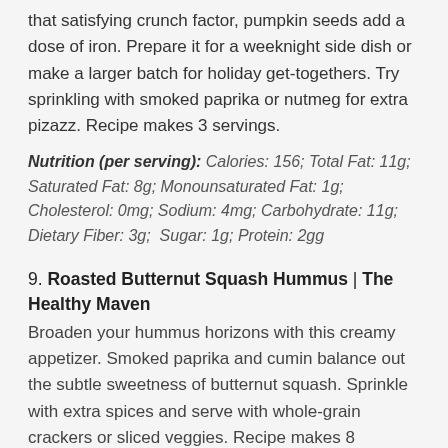that satisfying crunch factor, pumpkin seeds add a dose of iron. Prepare it for a weeknight side dish or make a larger batch for holiday get-togethers. Try sprinkling with smoked paprika or nutmeg for extra pizazz. Recipe makes 3 servings.
Nutrition (per serving): Calories: 156; Total Fat: 11g; Saturated Fat: 8g; Monounsaturated Fat: 1g; Cholesterol: 0mg; Sodium: 4mg; Carbohydrate: 11g; Dietary Fiber: 3g; Sugar: 1g; Protein: 2gg
9. Roasted Butternut Squash Hummus | The Healthy Maven
Broaden your hummus horizons with this creamy appetizer. Smoked paprika and cumin balance out the subtle sweetness of butternut squash. Sprinkle with extra spices and serve with whole-grain crackers or sliced veggies. Recipe makes 8 servings and 1/4 cup each.